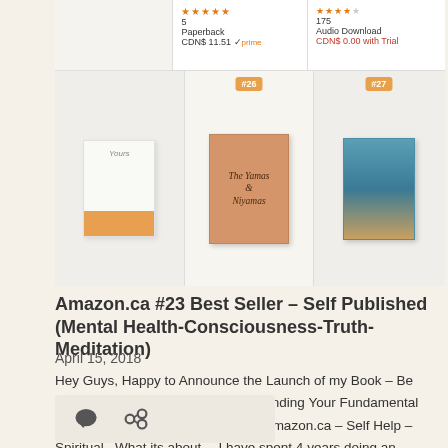[Figure (screenshot): Amazon.ca bestseller list showing book rankings with star ratings, prices, and book covers including 'The Yamas & Niyamas'. Rank badges #26 and #27 visible.]
Amazon.ca #23 Best Seller – Self Published (Mental Health-Consciousness-Truth-Meditation)
April 15, 2018
Hey Guys, Happy to Announce the Launch of my Book – Be Human, Not a Zombie: A Guide to Finding Your Fundamental Nature    Rated #23 Best Seller on Amazon.ca – Self Help – Spiritual   What its about… I have spent 4 years doing an empirical experiment on myself (10 000+ hours – through meditation, … More